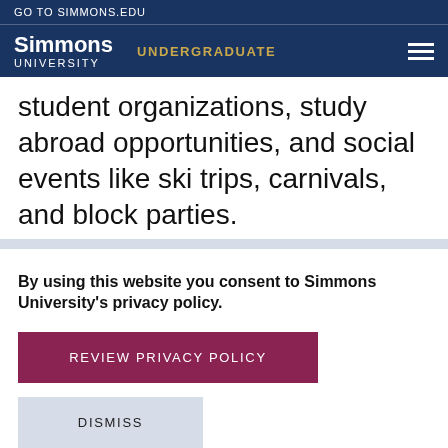GO TO SIMMONS.EDU
Simmons UNIVERSITY | UNDERGRADUATE
student organizations, study abroad opportunities, and social events like ski trips, carnivals, and block parties.
By using this website you consent to Simmons University's privacy policy.
REVIEW PRIVACY POLICY
DISMISS